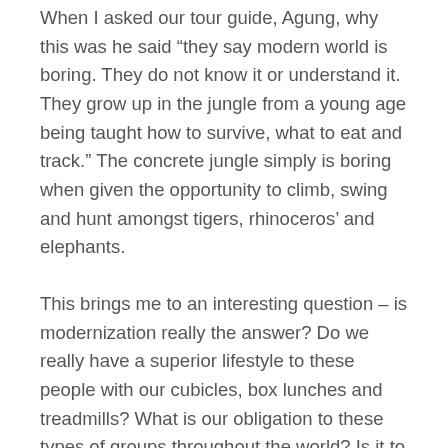When I asked our tour guide, Agung, why this was he said “they say modern world is boring. They do not know it or understand it. They grow up in the jungle from a young age being taught how to survive, what to eat and track.” The concrete jungle simply is boring when given the opportunity to climb, swing and hunt amongst tigers, rhinoceros’ and elephants.
This brings me to an interesting question – is modernization really the answer? Do we really have a superior lifestyle to these people with our cubicles, box lunches and treadmills? What is our obligation to these types of groups throughout the world? Is it to understand, watch and modernize? Turn them into tourist destinations?